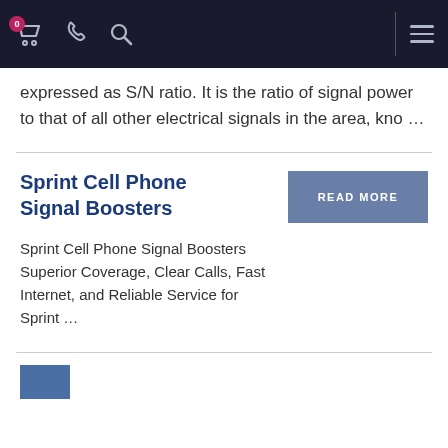Navigation bar with cart (0), phone, search, and menu icons
expressed as S/N ratio. It is the ratio of signal power to that of all other electrical signals in the area, kno …
Sprint Cell Phone Signal Boosters
Sprint Cell Phone Signal Boosters Superior Coverage, Clear Calls, Fast Internet, and Reliable Service for Sprint …